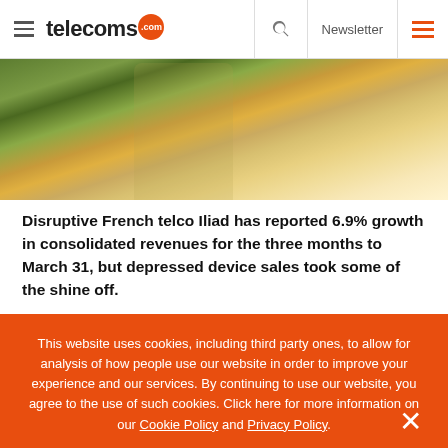telecoms.com
[Figure (photo): A glass jar filled with coins on a wooden surface, with a bright warm background suggesting sunlight]
Disruptive French telco Iliad has reported 6.9% growth in consolidated revenues for the three months to March 31, but depressed device sales took some of the shine off.
This website uses cookies, including third party ones, to allow for analysis of how people use our website in order to improve your experience and our services. By continuing to use our website, you agree to the use of such cookies. Click here for more information on our Cookie Policy and Privacy Policy.